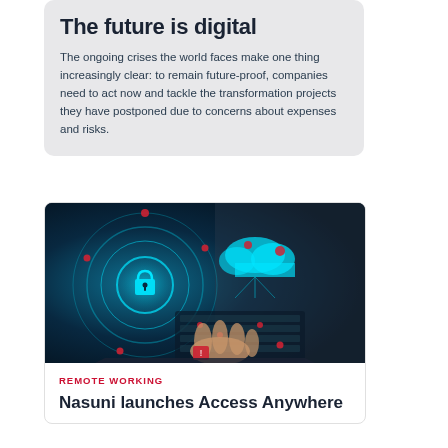The future is digital
The ongoing crises the world faces make one thing increasingly clear: to remain future-proof, companies need to act now and tackle the transformation projects they have postponed due to concerns about expenses and risks.
[Figure (photo): Person typing on laptop with digital cybersecurity overlay showing padlock icon and cloud connectivity graphics in teal/blue tones]
REMOTE WORKING
Nasuni launches Access Anywhere